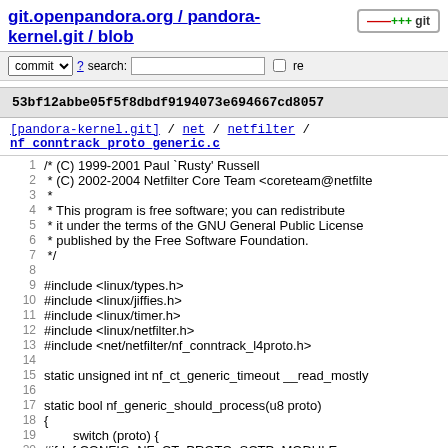git.openpandora.org / pandora-kernel.git / blob
53bf12abbe05f5f8dbdf9194073e694667cd8057
[pandora-kernel.git] / net / netfilter / nf_conntrack_proto_generic.c
1  /* (C) 1999-2001 Paul `Rusty' Russell
2   * (C) 2002-2004 Netfilter Core Team <coreteam@netfilte
3   *
4   * This program is free software; you can redistribute
5   * it under the terms of the GNU General Public License
6   * published by the Free Software Foundation.
7   */
8
9  #include <linux/types.h>
10 #include <linux/jiffies.h>
11 #include <linux/timer.h>
12 #include <linux/netfilter.h>
13 #include <net/netfilter/nf_conntrack_l4proto.h>
14
15 static unsigned int nf_ct_generic_timeout __read_mostly
16
17 static bool nf_generic_should_process(u8 proto)
18 {
19         switch (proto) {
20 #ifdef CONFIG_NF_CT_PROTO_SCTP_MODULE
21 ...